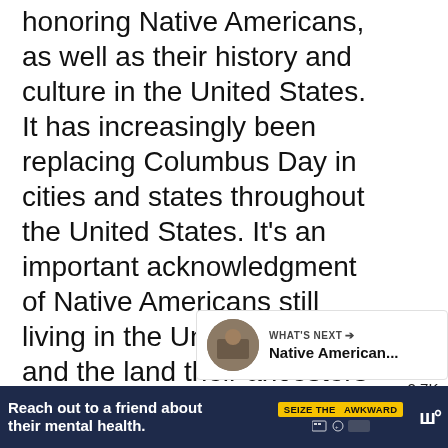honoring Native Americans, as well as their history and culture in the United States. It has increasingly been replacing Columbus Day in cities and states throughout the United States. It's an important acknowledgment of Native Americans still living in the United States and the land their ancestors once inhabited.
[Figure (screenshot): Social media UI: heart/like button showing 2.7K likes, and a share button]
[Figure (screenshot): What's Next panel with thumbnail image and text 'Native American...']
[Figure (screenshot): Advertisement bar: 'Reach out to a friend about their mental health.' with 'Seize the Awkward' yellow badge and network logo]